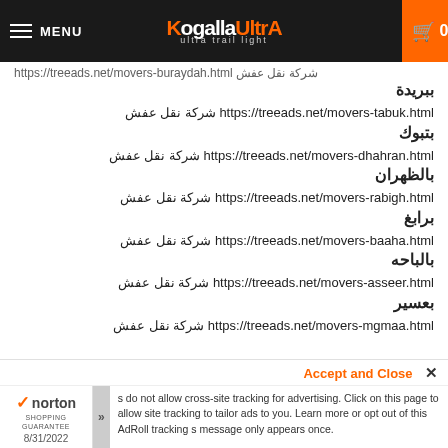MENU | KogallaUltrA ultra trail light | 0
https://treeads.net/movers-buraydah.html شركة نقل عفش ببريدة
شركة نقل عفش بتبوك https://treeads.net/movers-tabuk.html
شركة نقل عفش بالظهران https://treeads.net/movers-dhahran.html
شركة نقل عفش برابغ https://treeads.net/movers-rabigh.html
شركة نقل عفش بالباحه https://treeads.net/movers-baaha.html
شركة نقل عفش بعسير https://treeads.net/movers-asseer.html
شركة نقل عفش بالمجمعة https://treeads.net/movers-mgmaa.html
Accept and Close ✕ | Macs do not allow cross-site tracking for advertising. Click on this page to allow cross-site tracking to tailor ads to you. Learn more or opt out of this AdRoll tracking | s message only appears once. | norton SHOPPING GUARANTEE 8/31/2022